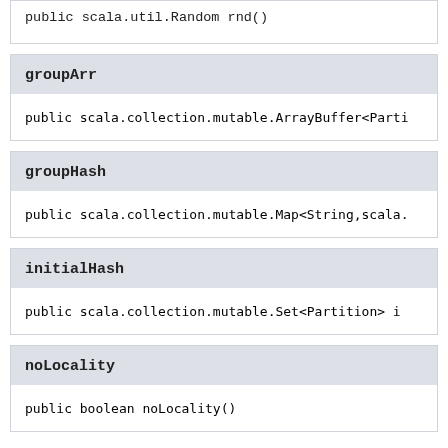public scala.util.Random rnd()
groupArr
public scala.collection.mutable.ArrayBuffer<Parti
groupHash
public scala.collection.mutable.Map<String,scala.
initialHash
public scala.collection.mutable.Set<Partition> i
noLocality
public boolean noLocality()